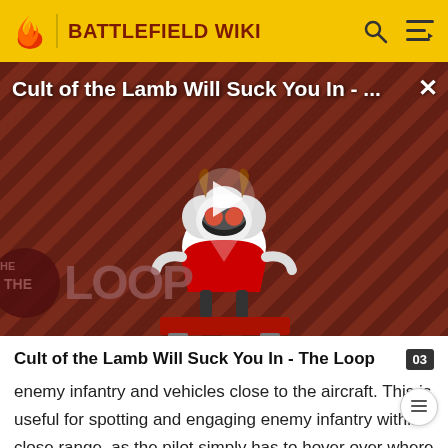BATTLEFIELD WIKI
[Figure (screenshot): Video thumbnail showing 'Cult of the Lamb Will Suck You In - The Loop' with a cartoon lamb character on a red striped background, with a play button overlay and 'THE LOOP' text badge]
Cult of the Lamb Will Suck You In - The Loop
enemy infantry and vehicles close to the aircraft. This is useful for spotting and engaging enemy infantry within close range, as the pilot simply has to hover over where